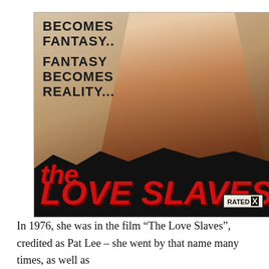[Figure (illustration): Movie poster for 'The Love Slaves' (Rated X). Top left has bold text reading 'BECOMES FANTASY.. FANTASY BECOMES REALITY...'. The poster features a figure in the center against a sepia/brown background. The bottom portion has a black torn-paper graphic with red stylized lettering reading 'the LOVE SLAVES'. Bottom right has a 'RATED X' box badge.]
In 1976, she was in the film “The Love Slaves”, credited as Pat Lee – she went by that name many times, as well as